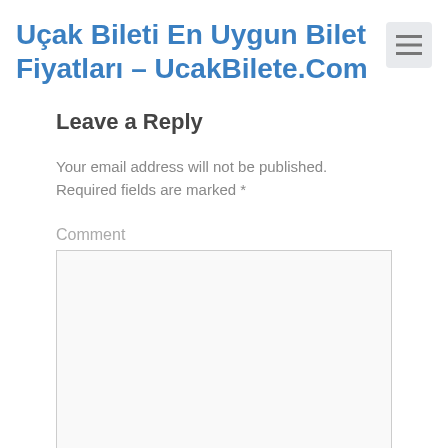Uçak Bileti En Uygun Bilet Fiyatları – UcakBilete.Com
Leave a Reply
Your email address will not be published. Required fields are marked *
Comment